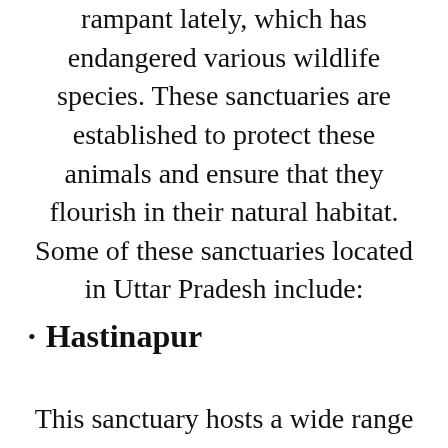rampant lately, which has endangered various wildlife species. These sanctuaries are established to protect these animals and ensure that they flourish in their natural habitat. Some of these sanctuaries located in Uttar Pradesh include:
Hastinapur
This sanctuary hosts a wide range of wildlife, including amphibians...